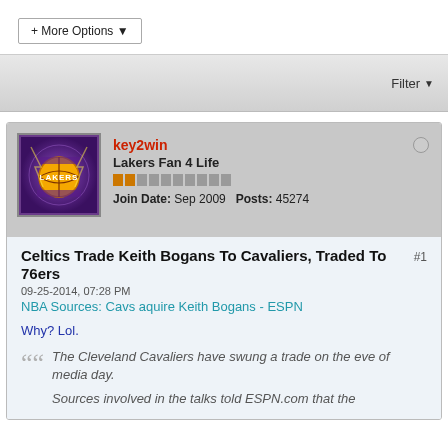+ More Options ▾
Filter ▼
key2win
Lakers Fan 4 Life
Join Date: Sep 2009   Posts: 45274
Celtics Trade Keith Bogans To Cavaliers, Traded To 76ers #1
09-25-2014, 07:28 PM
NBA Sources: Cavs aquire Keith Bogans - ESPN
Why? Lol.
The Cleveland Cavaliers have swung a trade on the eve of media day.

Sources involved in the talks told ESPN.com that the